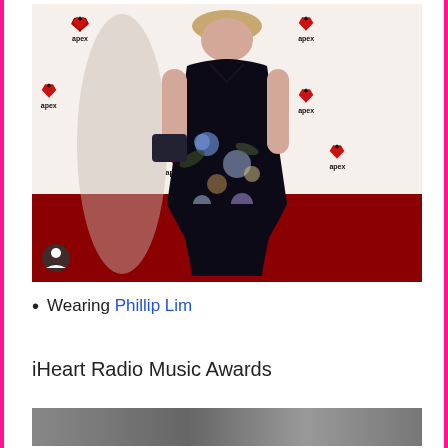[Figure (photo): Person wearing a dark floral gown standing on a red carpet in front of an Apex-branded white backdrop. The dress is floor-length with blue, purple, and cream flowers on a black background. A small user icon appears in the lower-left corner of the photo.]
Wearing Phillip Lim
iHeart Radio Music Awards
[Figure (photo): Partial bottom photo, content not fully visible - appears to be another event photo.]